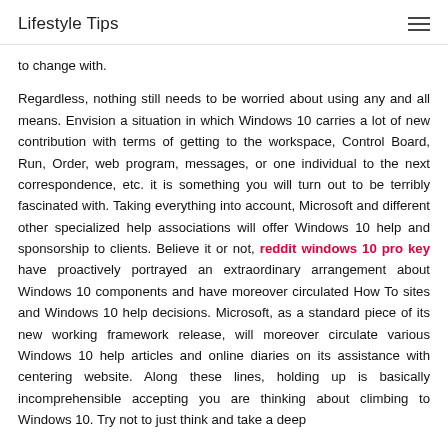Lifestyle Tips
to change with.
Regardless, nothing still needs to be worried about using any and all means. Envision a situation in which Windows 10 carries a lot of new contribution with terms of getting to the workspace, Control Board, Run, Order, web program, messages, or one individual to the next correspondence, etc. it is something you will turn out to be terribly fascinated with. Taking everything into account, Microsoft and different other specialized help associations will offer Windows 10 help and sponsorship to clients. Believe it or not, reddit windows 10 pro key have proactively portrayed an extraordinary arrangement about Windows 10 components and have moreover circulated How To sites and Windows 10 help decisions. Microsoft, as a standard piece of its new working framework release, will moreover circulate various Windows 10 help articles and online diaries on its assistance with centering website. Along these lines, holding up is basically incomprehensible accepting you are thinking about climbing to Windows 10. Try not to just think and take a deep…